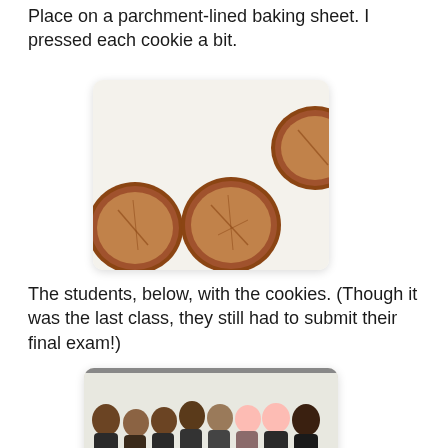Place on a parchment-lined baking sheet. I pressed each cookie a bit.
[Figure (photo): Three round, flat, baked cookies on a white parchment-lined baking sheet, viewed from above.]
The students, below, with the cookies. (Though it was the last class, they still had to submit their final exam!)
[Figure (photo): A group of approximately 15 students and an instructor posing for a photo in a classroom. They are arranged in three rows. A person in the front holds a large plate of cookies. Students are seated at desks.]